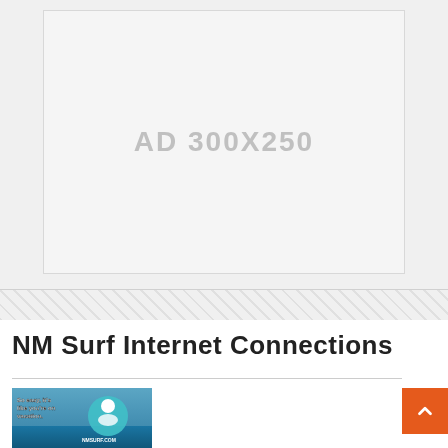[Figure (other): Ad placeholder box labeled AD 300X250 on light gray background]
NM Surf Internet Connections
[Figure (photo): NMSurf.com advertisement image showing a surfer and ocean with text: So easy, it's like you're on vacation. NMSURF.COM]